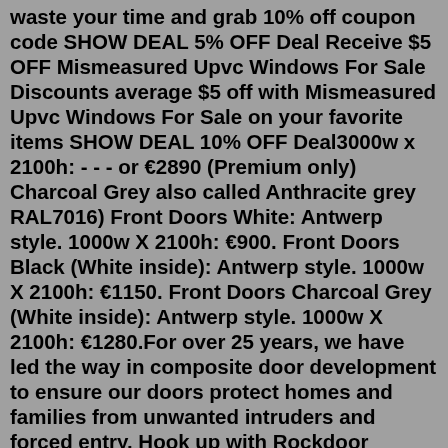waste your time and grab 10% off coupon code SHOW DEAL 5% OFF Deal Receive $5 OFF Mismeasured Upvc Windows For Sale Discounts average $5 off with Mismeasured Upvc Windows For Sale on your favorite items SHOW DEAL 10% OFF Deal3000w x 2100h: - - - or €2890 (Premium only) Charcoal Grey also called Anthracite grey RAL7016) Front Doors White: Antwerp style. 1000w X 2100h: €900. Front Doors Black (White inside): Antwerp style. 1000w X 2100h: €1150. Front Doors Charcoal Grey (White inside): Antwerp style. 1000w X 2100h: €1280.For over 25 years, we have led the way in composite door development to ensure our doors protect homes and families from unwanted intruders and forced entry. Hook up with Rockdoor Strong sintered steel multi point hook locks with a 25mm throw, securely attach the door to the frame to ensure it cannot be forcibly opened by burglars whilst ... See all our our weekly mismeasure pvc window and door ads on done deal. ie OVER 150 WINDOWS AND DOORS IN STOCK AT ALL TIMES